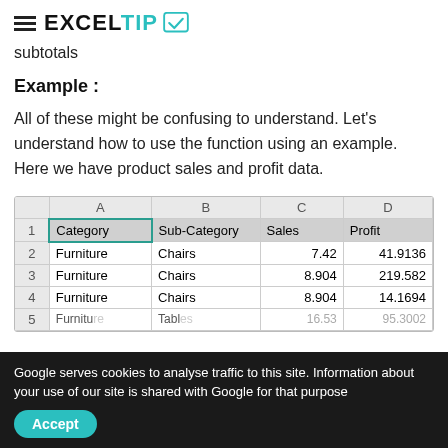EXCELTIP
subtotals
Example :
All of these might be confusing to understand. Let's understand how to use the function using an example. Here we have product sales and profit data.
[Figure (screenshot): Excel spreadsheet screenshot showing columns A (Category), B (Sub-Category), C (Sales), D (Profit) with rows: 2 Furniture Chairs 7.42 41.9136, 3 Furniture Chairs 8.904 219.582, 4 Furniture Chairs 8.904 14.1694, 5 Furniture Tables (partially visible)]
Google serves cookies to analyse traffic to this site. Information about your use of our site is shared with Google for that purpose